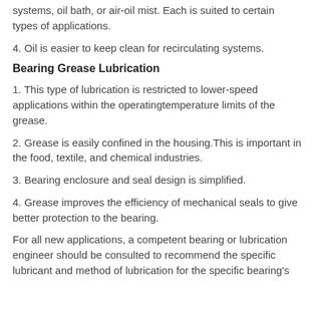systems, oil bath, or air-oil mist. Each is suited to certain types of applications.
4. Oil is easier to keep clean for recirculating systems.
Bearing Grease Lubrication
1. This type of lubrication is restricted to lower-speed applications within the operatingtemperature limits of the grease.
2. Grease is easily confined in the housing.This is important in the food, textile, and chemical industries.
3. Bearing enclosure and seal design is simplified.
4. Grease improves the efficiency of mechanical seals to give better protection to the bearing.
For all new applications, a competent bearing or lubrication engineer should be consulted to recommend the specific lubricant and method of lubrication for the specific bearing's